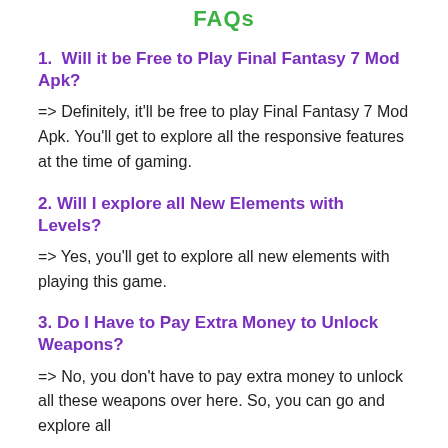FAQs
1.  Will it be Free to Play Final Fantasy 7 Mod Apk?
=> Definitely, it'll be free to play Final Fantasy 7 Mod Apk. You'll get to explore all the responsive features at the time of gaming.
2. Will I explore all New Elements with Levels?
=> Yes, you'll get to explore all new elements with playing this game.
3. Do I Have to Pay Extra Money to Unlock Weapons?
=> No, you don't have to pay extra money to unlock all these weapons over here. So, you can go and explore all